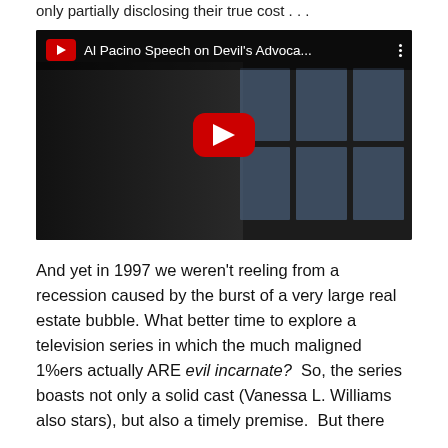only partially disclosing their true cost . . .
[Figure (screenshot): YouTube video embed showing Al Pacino Speech on Devil's Advoca... with play button overlay, dark scene with figure and window background]
And yet in 1997 we weren't reeling from a recession caused by the burst of a very large real estate bubble. What better time to explore a television series in which the much maligned 1%ers actually ARE evil incarnate?  So, the series boasts not only a solid cast (Vanessa L. Williams also stars), but also a timely premise.  But there